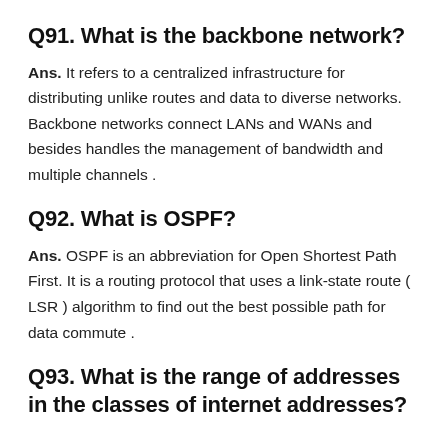Q91. What is the backbone network?
Ans. It refers to a centralized infrastructure for distributing unlike routes and data to diverse networks. Backbone networks connect LANs and WANs and besides handles the management of bandwidth and multiple channels .
Q92. What is OSPF?
Ans. OSPF is an abbreviation for Open Shortest Path First. It is a routing protocol that uses a link-state route ( LSR ) algorithm to find out the best possible path for data commute .
Q93. What is the range of addresses in the classes of internet addresses?